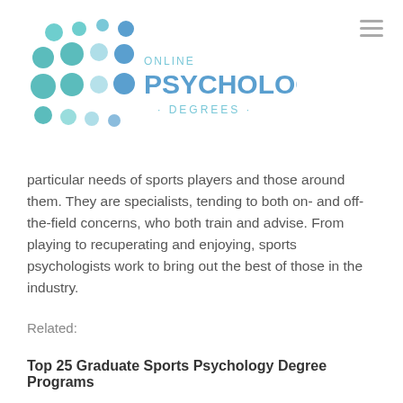[Figure (logo): Online Psychology Degrees logo with teal and blue dot-grid pattern and text]
particular needs of sports players and those around them. They are specialists, tending to both on- and off-the-field concerns, who both train and advise. From playing to recuperating and enjoying, sports psychologists work to bring out the best of those in the industry.
Related:
Top 25 Graduate Sports Psychology Degree Programs